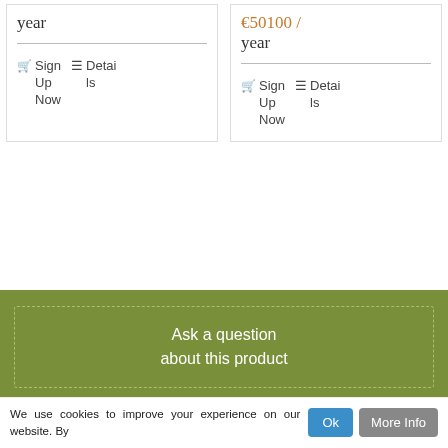year
€50100 / year
🛒 Sign Up Now  ☰ Details
🛒 Sign Up Now  ☰ Details
Ask a question about this product
Our Product Range
> Organic Heirloom Seeds
> Garden Gift Shop
We use cookies to improve your experience on our website. By